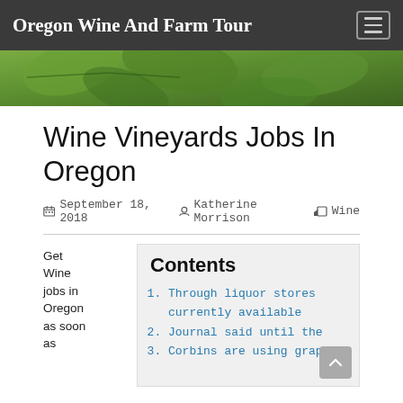Oregon Wine And Farm Tour
Wine Vineyards Jobs In Oregon
September 18, 2018  Katherine Morrison  Wine
Get Wine jobs in Oregon as soon as
Contents
1. Through liquor stores currently available
2. Journal said until the
3. Corbins are using grapes